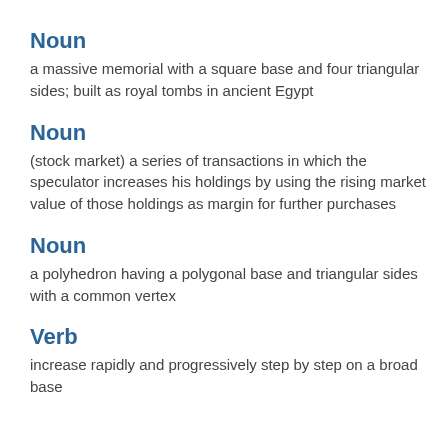Noun
a massive memorial with a square base and four triangular sides; built as royal tombs in ancient Egypt
Noun
(stock market) a series of transactions in which the speculator increases his holdings by using the rising market value of those holdings as margin for further purchases
Noun
a polyhedron having a polygonal base and triangular sides with a common vertex
Verb
increase rapidly and progressively step by step on a broad base